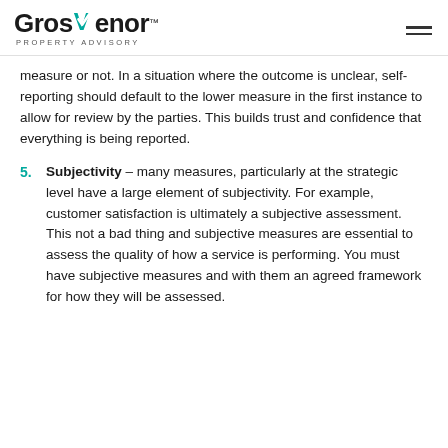Grosvenor Property Advisory
measure or not. In a situation where the outcome is unclear, self-reporting should default to the lower measure in the first instance to allow for review by the parties. This builds trust and confidence that everything is being reported.
5. Subjectivity – many measures, particularly at the strategic level have a large element of subjectivity. For example, customer satisfaction is ultimately a subjective assessment. This not a bad thing and subjective measures are essential to assess the quality of how a service is performing. You must have subjective measures and with them an agreed framework for how they will be assessed.